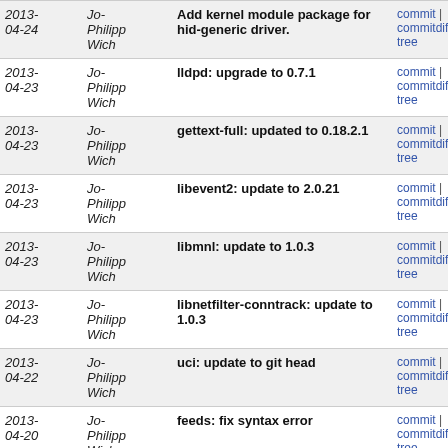| Date | Author | Message | Links |
| --- | --- | --- | --- |
| 2013-04-24 | Jo-Philipp Wich | Add kernel module package for hid-generic driver. | commit | commitdiff | tree |
| 2013-04-23 | Jo-Philipp Wich | lldpd: upgrade to 0.7.1 | commit | commitdiff | tree |
| 2013-04-23 | Jo-Philipp Wich | gettext-full: updated to 0.18.2.1 | commit | commitdiff | tree |
| 2013-04-23 | Jo-Philipp Wich | libevent2: update to 2.0.21 | commit | commitdiff | tree |
| 2013-04-23 | Jo-Philipp Wich | libmnl: update to 1.0.3 | commit | commitdiff | tree |
| 2013-04-23 | Jo-Philipp Wich | libnetfilter-conntrack: update to 1.0.3 | commit | commitdiff | tree |
| 2013-04-22 | Jo-Philipp Wich | uci: update to git head | commit | commitdiff | tree |
| 2013-04-20 | Jo-Philipp Wich | feeds: fix syntax error | commit | commitdiff | tree |
| 2013- | Jo- | feeds: add openwrt-routing feed | commit | commitdiff |